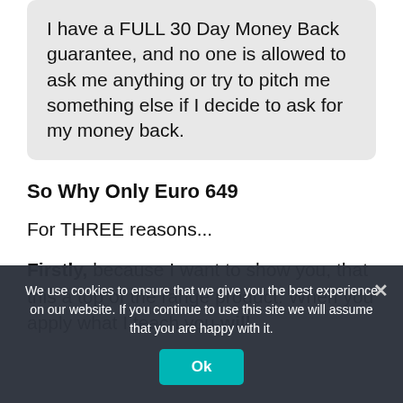I have a FULL 30 Day Money Back guarantee, and no one is allowed to ask me anything or try to pitch me something else if I decide to ask for my money back.
So Why Only Euro 649
For THREE reasons...
Firstly, because I want to show you, that this a top of the range product. When you apply what I teach you will
We use cookies to ensure that we give you the best experience on our website. If you continue to use this site we will assume that you are happy with it.